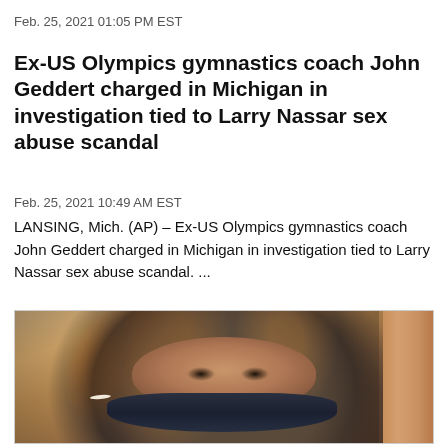Feb. 25, 2021 01:05 PM EST
Ex-US Olympics gymnastics coach John Geddert charged in Michigan in investigation tied to Larry Nassar sex abuse scandal
Feb. 25, 2021 10:49 AM EST
LANSING, Mich. (AP) – Ex-US Olympics gymnastics coach John Geddert charged in Michigan in investigation tied to Larry Nassar sex abuse scandal. ...
[Figure (photo): Close-up photo of a woman with long highlighted hair wearing a dark face mask, with a warm-toned column or pillar visible in the upper right background.]